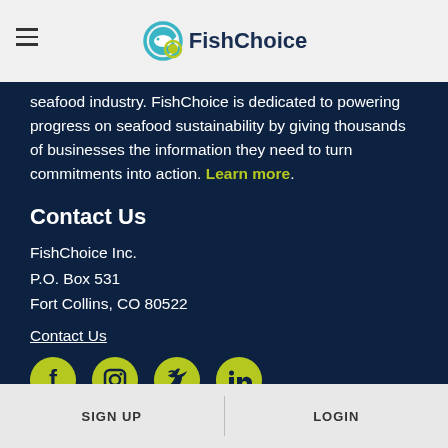[Figure (logo): FishChoice logo with fish gear icon in teal/navy and text 'FishChoice']
seafood industry. FishChoice is dedicated to powering progress on seafood sustainability by giving thousands of businesses the information they need to turn commitments into action. Learn more.
Contact Us
FishChoice Inc.
P.O. Box 531
Fort Collins, CO 80522
Contact Us
[Figure (illustration): Social media icons: Facebook, Instagram, Twitter, LinkedIn — green circles with white icons]
SIGN UP    LOGIN